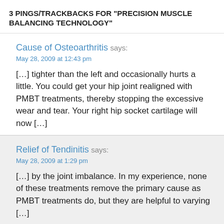3 PINGS/TRACKBACKS FOR "PRECISION MUSCLE BALANCING TECHNOLOGY"
Cause of Osteoarthritis says:
May 28, 2009 at 12:43 pm
[…] tighter than the left and occasionally hurts a little. You could get your hip joint realigned with PMBT treatments, thereby stopping the excessive wear and tear. Your right hip socket cartilage will now […]
Relief of Tendinitis says:
May 28, 2009 at 1:29 pm
[…] by the joint imbalance. In my experience, none of these treatments remove the primary cause as PMBT treatments do, but they are helpful to varying […]